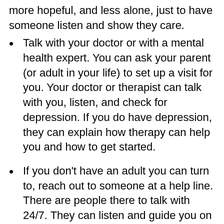more hopeful, and less alone, just to have someone listen and show they care.
Talk with your doctor or with a mental health expert. You can ask your parent (or adult in your life) to set up a visit for you. Your doctor or therapist can talk with you, listen, and check for depression. If you do have depression, they can explain how therapy can help you and how to get started.
If you don't have an adult you can turn to, reach out to someone at a help line. There are people there to talk with 24/7. They can listen and guide you on how to get the help you need. In the United States, start with SAMHSA's free helpline at 800-662-HELP (4357) for provider referrals in your area. Or you can text your zip code to 435748 (HELP4U) for referrals...